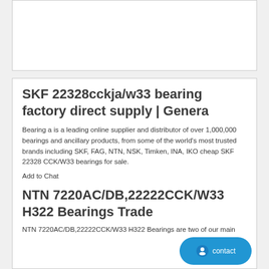[Figure (other): White rectangular box area at top of page, appears to be an image placeholder or advertisement space]
SKF 22328cckja/w33 bearing factory direct supply | Genera
Bearing a is a leading online supplier and distributor of over 1,000,000 bearings and ancillary products, from some of the world's most trusted brands including SKF, FAG, NTN, NSK, Timken, INA, IKO cheap SKF 22328 CCK/W33 bearings for sale.
Add to Chat
NTN 7220AC/DB,22222CCK/W33 H322 Bearings Trade
NTN 7220AC/DB,22222CCK/W33 H322 Bearings are two of our main